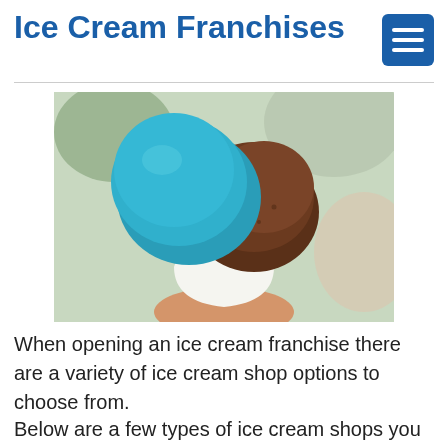Ice Cream Franchises
[Figure (photo): A hand holding a paper cup with two scoops of ice cream — one blue/teal colored and one chocolate brown.]
When opening an ice cream franchise there are a variety of ice cream shop options to choose from.
Below are a few types of ice cream shops you